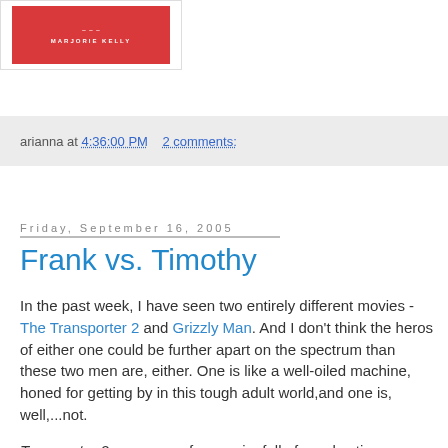[Figure (illustration): Book cover with red background and author name MARJORIE KELLY]
arianna at 4:36:00 PM   2 comments:
Friday, September 16, 2005
Frank vs. Timothy
In the past week, I have seen two entirely different movies - The Transporter 2 and Grizzly Man. And I don't think the heros of either one could be further apart on the spectrum than these two men are, either. One is like a well-oiled machine, honed for getting by in this tough adult world,and one is, well,...not.
Transporter 2 was a very fun movie, full of good action sequences - but there's not much to say about it, beyond that. Grizzly Man was quite a different animal altogether (pun not intended, but I like it, so I'm going to leave it). The story of Timothy Treadwell, friend to the grizzlies, was